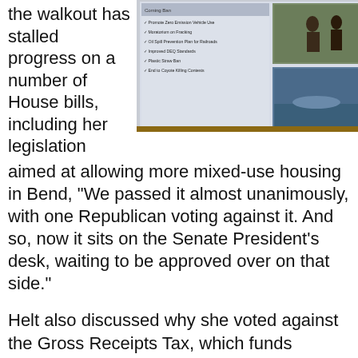the walkout has stalled progress on a number of House bills, including her legislation
[Figure (photo): A projected presentation slide showing a list of environmental policy items including Zero Emission Vehicle Use, Moratorium on Fracking, Oil Spill Prevention Plan for Railroads, Improved DEQ Standards, Plastic Straw Ban, End to Coyote Killing Contests, alongside nature photographs.]
aimed at allowing more mixed-use housing in Bend, "We passed it almost unanimously, with one Republican voting against it. And so, now it sits on the Senate President's desk, waiting to be approved over on that side."
Helt also discussed why she voted against the Gross Receipts Tax, which funds schools, but supported other education-related bills; and, she listed the various environmental bills she helped pass. A woman, who said she is a longtime Bend resident, criticized Helt for supporting bans on plastic bags and straws in an effort to keep pollution out of the ocean